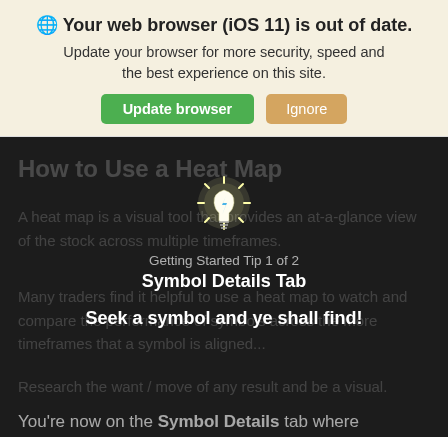🌐 Your web browser (iOS 11) is out of date. Update your browser for more security, speed and the best experience on this site.
How to Use a Heat Map
A heat map is a visual tool that provides an at-a-glance view of the stock across multiple timeframes.
[Figure (illustration): Glowing lightbulb icon with lightning bolt, representing a tip]
Getting Started Tip 1 of 2
Symbol Details Tab
Seek a symbol and ye shall find!
You're now on the Symbol Details tab where